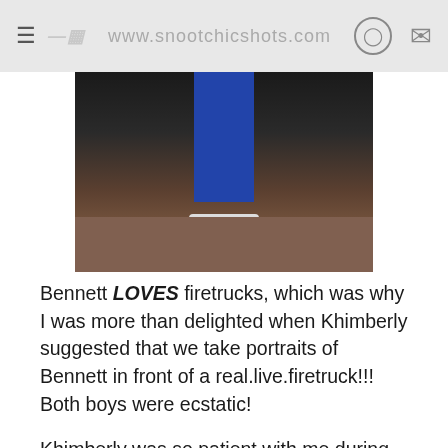www.snootchicshots.com
[Figure (photo): Cropped photo showing blue pants and white shoes on a stone pavement surface, with dark background]
Bennett LOVES firetrucks, which was why I was more than delighted when Khimberly suggested that we take portraits of Bennett in front of a real.live.firetruck!!!  Both boys were ecstatic!
Khimberly was so patient with me during our photoshoot and reassured me several times that she wanted to help make the session low stress.  I was especially thankful for this as I wanted to make sure Bennett got his feeding and medications on time, which is hard to do when we add something